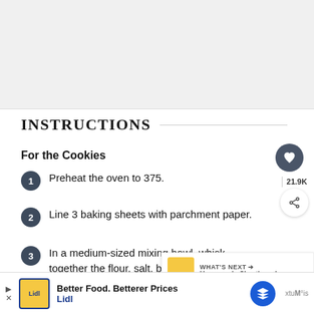[Figure (photo): Gray placeholder image area at top of page]
INSTRUCTIONS
For the Cookies
Preheat the oven to 375.
Line 3 baking sheets with parchment paper.
In a medium-sized mixing bowl, whisk together the flour, salt, baking soda, and spices. Set aside.
In a large mixing bowl combine the shortening.
[Figure (photo): What's Next panel showing Homemade Shortbread thumbnail with arrow label]
[Figure (other): Lidl advertisement banner: Better Food. Betterer Prices. Lidl]